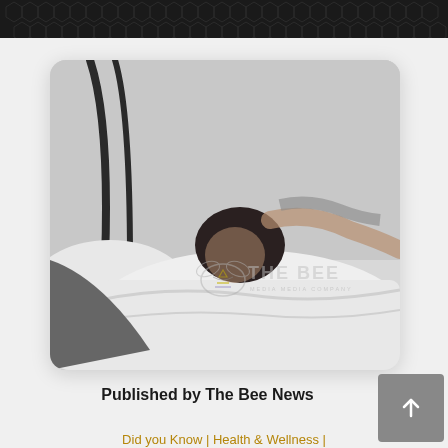[Figure (photo): Black and white photograph of a person sleeping in bed under white covers, with a metal bed frame visible. The Bee media company watermark logo is overlaid in the lower right of the image.]
Published by The Bee News
Did you Know | Health & Wellness |